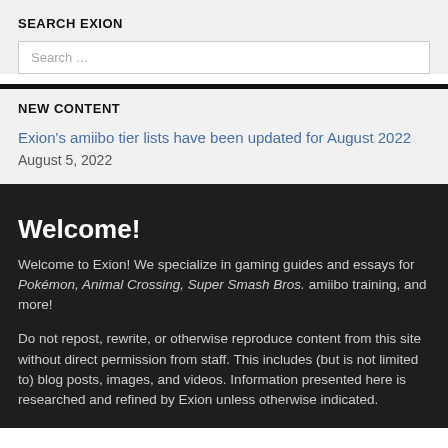SEARCH EXION
Search …
NEW CONTENT
Exion's amiibo tier lists have been updated for August 2022
August 5, 2022
Welcome!
Welcome to Exion! We specialize in gaming guides and essays for Pokémon, Animal Crossing, Super Smash Bros. amiibo training, and more!
Do not repost, rewrite, or otherwise reproduce content from this site without direct permission from staff. This includes (but is not limited to) blog posts, images, and videos. Information presented here is researched and refined by Exion unless otherwise indicated.